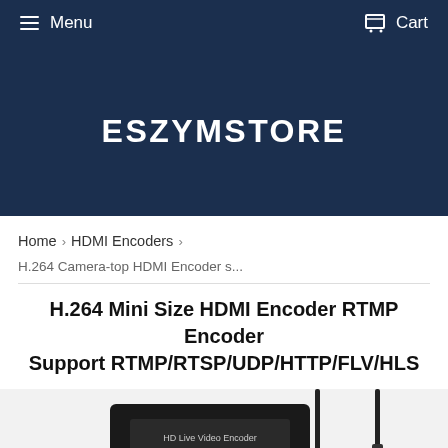Menu   Cart
ESZYMSTORE
Home › HDMI Encoders ›
H.264 Camera-top HDMI Encoder s...
H.264 Mini Size HDMI Encoder RTMP Encoder Support RTMP/RTSP/UDP/HTTP/FLV/HLS
[Figure (photo): Photo of HD Live Video Encoder hardware device with antenna connectors, shown from front angle. Black rectangular device with gold SMA connectors and two antennas visible.]